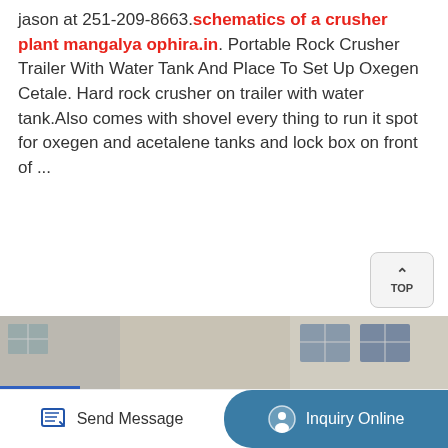jason at 251-209-8663. schematics of a crusher plant mangalya ophira.in. Portable Rock Crusher Trailer With Water Tank And Place To Set Up Oxegen Cetale. Hard rock crusher on trailer with water tank.Also comes with shovel every thing to run it spot for oxegen and acetalene tanks and lock box on front of ...
[Figure (other): Button labeled Free Quote with golden/amber rounded rectangle styling]
[Figure (photo): Industrial machinery yard showing multiple crusher machines lined up in a row, cream/yellow colored with red accents, in an outdoor industrial facility with concrete buildings in the background. Blue metal frame structures visible.]
Send Message
Inquiry Online